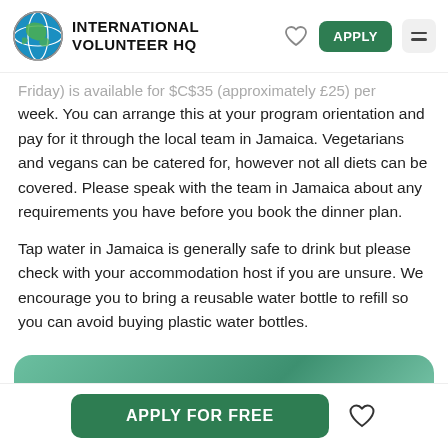INTERNATIONAL VOLUNTEER HQ
...Friday) is available for $C$35 (approximately £25) per week. You can arrange this at your program orientation and pay for it through the local team in Jamaica. Vegetarians and vegans can be catered for, however not all diets can be covered. Please speak with the team in Jamaica about any requirements you have before you book the dinner plan.
Tap water in Jamaica is generally safe to drink but please check with your accommodation host if you are unsure. We encourage you to bring a reusable water bottle to refill so you can avoid buying plastic water bottles.
[Figure (other): Teal/green rounded card element partially visible at bottom of content area]
APPLY FOR FREE